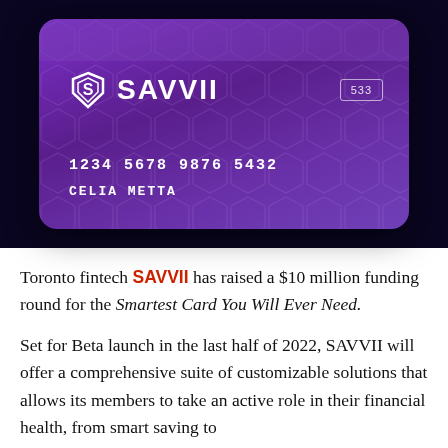[Figure (photo): A purple SAVVII credit card showing card number 1234 5678 9876 5432, cardholder name CELIA METTA, CVV box showing 533, on a dark navy background.]
Toronto fintech SAVVII has raised a $10 million funding round for the Smartest Card You Will Ever Need.
Set for Beta launch in the last half of 2022, SAVVII will offer a comprehensive suite of customizable solutions that allows its members to take an active role in their financial health, from smart saving to